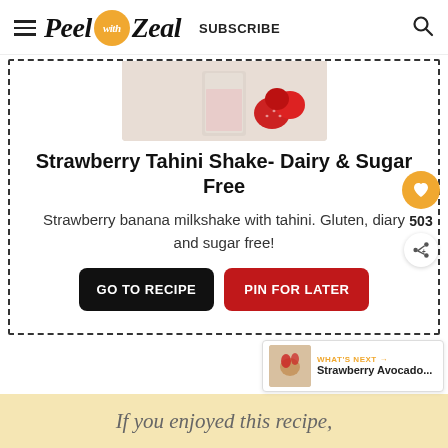Peel with Zeal  SUBSCRIBE
[Figure (photo): Partial photo of a strawberry shake in a glass with fresh strawberries, cropped at top]
Strawberry Tahini Shake- Dairy & Sugar Free
Strawberry banana milkshake with tahini. Gluten, diary and sugar free!
GO TO RECIPE  PIN FOR LATER
If you enjoyed this recipe,
[Figure (photo): Small thumbnail of Strawberry Avocado recipe with WHAT'S NEXT label]